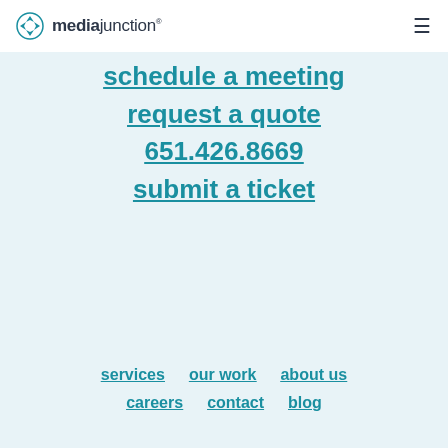mediajunction
schedule a meeting
request a quote
651.426.8669
submit a ticket
services
our work
about us
careers
contact
blog